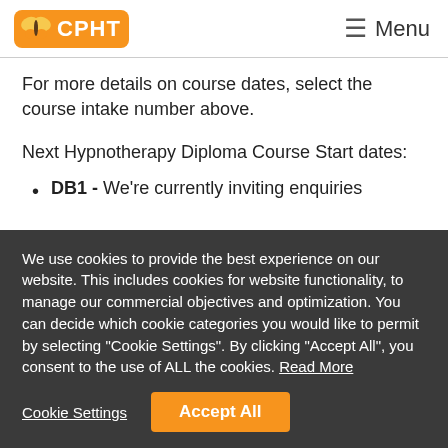CPHT — Menu
For more details on course dates, select the course intake number above.
Next Hypnotherapy Diploma Course Start dates:
DB1 - We're currently inviting enquiries
We use cookies to provide the best experience on our website. This includes cookies for website functionality, to manage our commercial objectives and optimization. You can decide which cookie categories you would like to permit by selecting "Cookie Settings". By clicking "Accept All", you consent to the use of ALL the cookies. Read More
Cookie Settings | Accept All